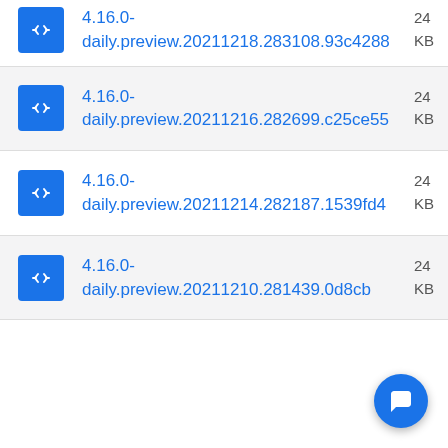4.16.0-daily.preview.20211218.283108.93c4288
4.16.0-daily.preview.20211216.282699.c25ce55
4.16.0-daily.preview.20211214.282187.1539fd4
4.16.0-daily.preview.20211210.281439.0d8cb